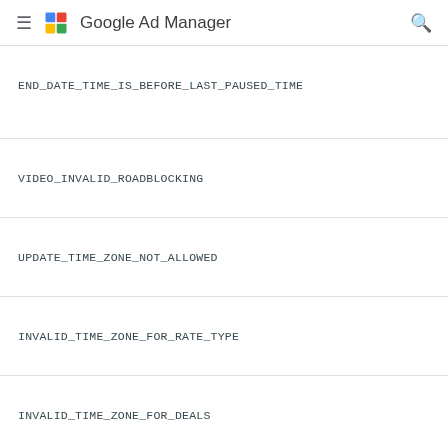Google Ad Manager
END_DATE_TIME_IS_BEFORE_LAST_PAUSED_TIME
VIDEO_INVALID_ROADBLOCKING
UPDATE_TIME_ZONE_NOT_ALLOWED
INVALID_TIME_ZONE_FOR_RATE_TYPE
INVALID_TIME_ZONE_FOR_DEALS
INVALID_ENVIRONMENT_TYPE
SIZE_REQUIRED